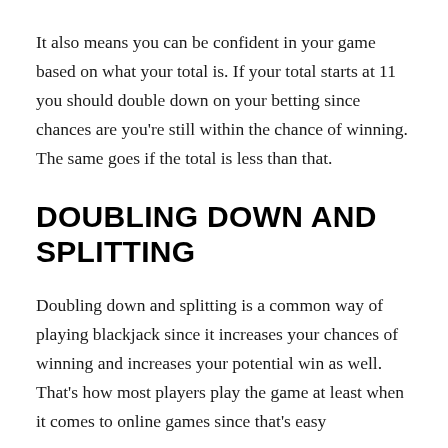It also means you can be confident in your game based on what your total is. If your total starts at 11 you should double down on your betting since chances are you're still within the chance of winning. The same goes if the total is less than that.
DOUBLING DOWN AND SPLITTING
Doubling down and splitting is a common way of playing blackjack since it increases your chances of winning and increases your potential win as well. That's how most players play the game at least when it comes to online games since that's easy